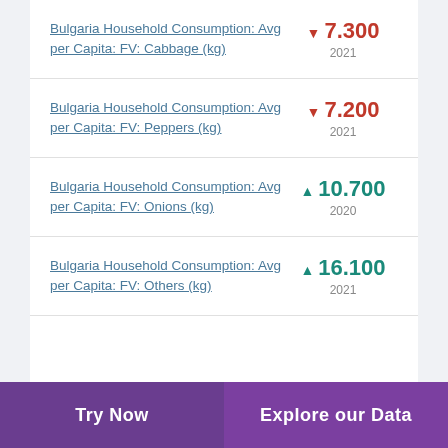Bulgaria Household Consumption: Avg per Capita: FV: Cabbage (kg)
Bulgaria Household Consumption: Avg per Capita: FV: Peppers (kg)
Bulgaria Household Consumption: Avg per Capita: FV: Onions (kg)
Bulgaria Household Consumption: Avg per Capita: FV: Others (kg)
Try Now | Explore our Data